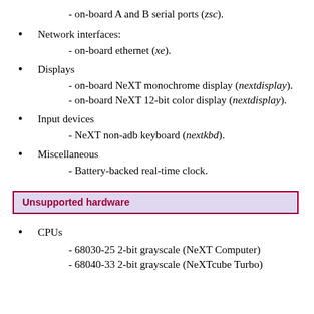- on-board A and B serial ports (zsc).
Network interfaces:
  - on-board ethernet (xe).
Displays
  - on-board NeXT monochrome display (nextdisplay).
  - on-board NeXT 12-bit color display (nextdisplay).
Input devices
  - NeXT non-adb keyboard (nextkbd).
Miscellaneous
  - Battery-backed real-time clock.
Unsupported hardware
CPUs
  - 68030-25 2-bit grayscale (NeXT Computer)
  - 68040-33 2-bit grayscale (NeXTcube Turbo)